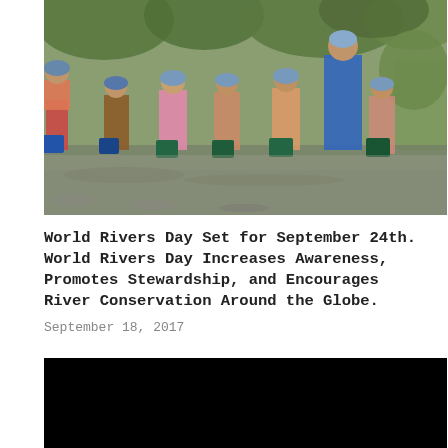[Figure (photo): Children and an adult standing in a shallow river or stream, each holding green or blue buckets, appearing to release fish or water creatures into the water. The background shows green vegetation and other participants.]
World Rivers Day Set for September 24th. World Rivers Day Increases Awareness, Promotes Stewardship, and Encourages River Conservation Around the Globe.
September 18, 2017
[Figure (photo): A mostly black/dark image, appears to be a partially loaded or dark photograph.]